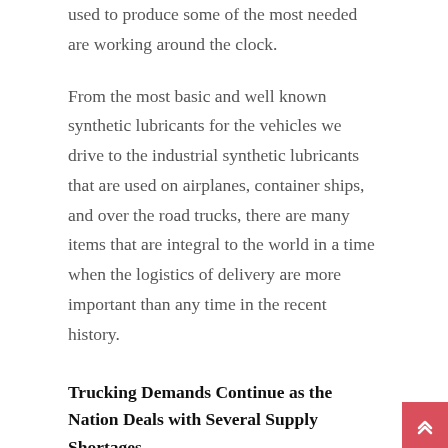used to produce some of the most needed are working around the clock.
From the most basic and well known synthetic lubricants for the vehicles we drive to the industrial synthetic lubricants that are used on airplanes, container ships, and over the road trucks, there are many items that are integral to the world in a time when the logistics of delivery are more important than any time in the recent history.
Trucking Demands Continue as the Nation Deals with Several Supply Shortages